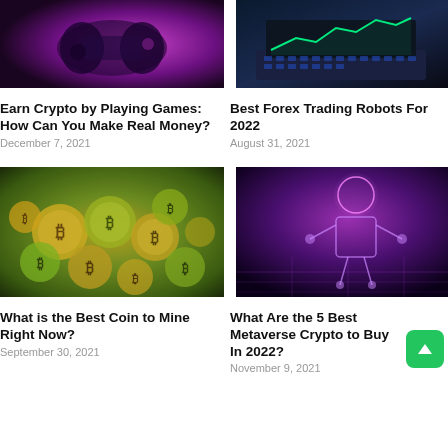[Figure (photo): Gaming controller with purple/pink neon lighting]
[Figure (photo): Laptop with forex trading chart on screen]
Earn Crypto by Playing Games: How Can You Make Real Money?
December 7, 2021
Best Forex Trading Robots For 2022
August 31, 2021
[Figure (photo): Pile of colorful cryptocurrency coins with Bitcoin symbols]
[Figure (photo): Digital metaverse figure with glowing wireframe grid]
What is the Best Coin to Mine Right Now?
September 30, 2021
What Are the 5 Best Metaverse Crypto to Buy In 2022?
November 9, 2021